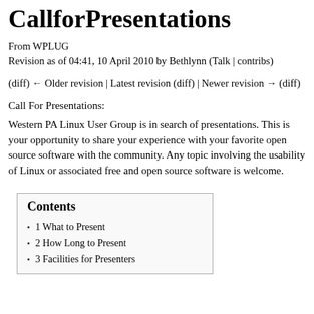CallforPresentations
From WPLUG
Revision as of 04:41, 10 April 2010 by Bethlynn (Talk | contribs)
(diff) ← Older revision | Latest revision (diff) | Newer revision → (diff)
Call For Presentations:
Western PA Linux User Group is in search of presentations. This is your opportunity to share your experience with your favorite open source software with the community. Any topic involving the usability of Linux or associated free and open source software is welcome.
Contents
1 What to Present
2 How Long to Present
3 Facilities for Presenters